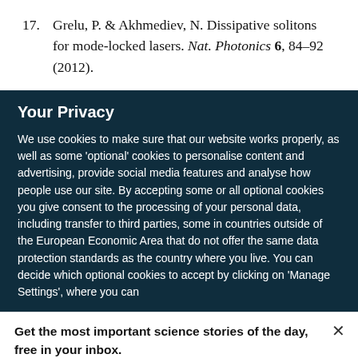17. Grelu, P. & Akhmediev, N. Dissipative solitons for mode-locked lasers. Nat. Photonics 6, 84–92 (2012).
Your Privacy
We use cookies to make sure that our website works properly, as well as some 'optional' cookies to personalise content and advertising, provide social media features and analyse how people use our site. By accepting some or all optional cookies you give consent to the processing of your personal data, including transfer to third parties, some in countries outside of the European Economic Area that do not offer the same data protection standards as the country where you live. You can decide which optional cookies to accept by clicking on 'Manage Settings', where you can
Get the most important science stories of the day, free in your inbox.
Sign up for Nature Briefing